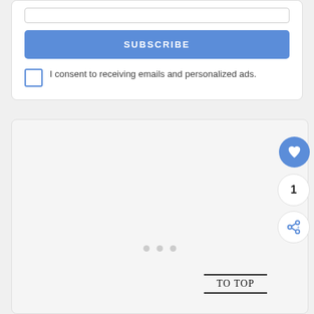SUBSCRIBE
I consent to receiving emails and personalized ads.
[Figure (screenshot): Bottom card area with light gray background, three pagination dots, a 'TO TOP' label between two horizontal lines, and floating action buttons for heart/like (blue, count:1) and share.]